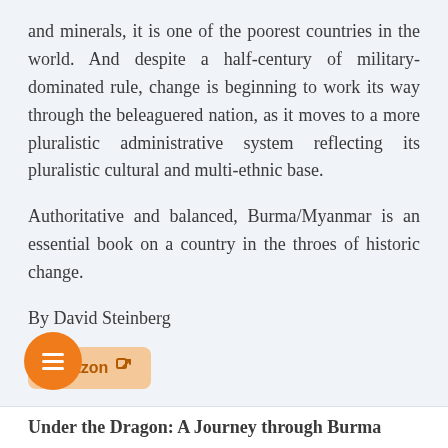and minerals, it is one of the poorest countries in the world. And despite a half-century of military-dominated rule, change is beginning to work its way through the beleaguered nation, as it moves to a more pluralistic administrative system reflecting its pluralistic cultural and multi-ethnic base.
Authoritative and balanced, Burma/Myanmar is an essential book on a country in the throes of historic change.
By David Steinberg
[Figure (other): Amazon external link button with orange background]
[Figure (other): Orange circular hamburger/menu floating action button]
Under the Dragon: A Journey through Burma